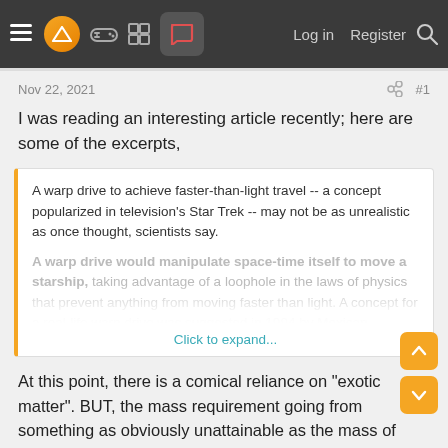Navigation bar with logo, icons, Log in, Register, Search
Nov 22, 2021  #1
I was reading an interesting article recently; here are some of the excerpts,
A warp drive to achieve faster-than-light travel -- a concept popularized in television's Star Trek -- may not be as unrealistic as once thought, scientists say.

A warp drive would manipulate space-time itself to move a starship, taking advantage of a loophole in the laws of physics that prevent anything from moving faster than light. A concept for a real-life warp drive was suggested in 1994 by Mexican physicist...
Click to expand...
At this point, there is a comical reliance on "exotic matter". BUT, the mass requirement going from something as obviously unattainable as the mass of "Jupiter", to the mass of a "spacecraft" certainly is promising.